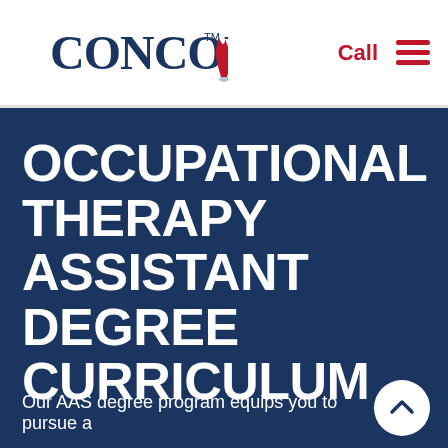Concorde — Call | Navigation menu
OCCUPATIONAL THERAPY ASSISTANT DEGREE CURRICULUM
Our AAS degree program equips you to pursue a